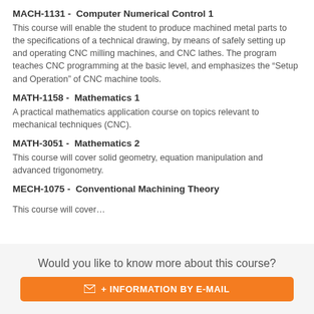MACH-1131 -  Computer Numerical Control 1
This course will enable the student to produce machined metal parts to the specifications of a technical drawing, by means of safely setting up and operating CNC milling machines, and CNC lathes. The program teaches CNC programming at the basic level, and emphasizes the “Setup and Operation” of CNC machine tools.
MATH-1158 -  Mathematics 1
A practical mathematics application course on topics relevant to mechanical techniques (CNC).
MATH-3051 -  Mathematics 2
This course will cover solid geometry, equation manipulation and advanced trigonometry.
MECH-1075 -  Conventional Machining Theory
Would you like to know more about this course?
+ INFORMATION BY E-MAIL